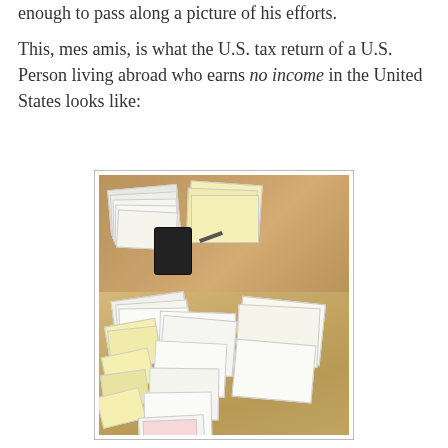enough to pass along a picture of his efforts.
This, mes amis, is what the U.S. tax return of a U.S. Person living abroad who earns no income in the United States looks like:
[Figure (photo): Photo of a desk and floor covered with many stacks of tax forms and documents, including white, yellow, and colored papers, with a calculator and scissors visible on the desk.]